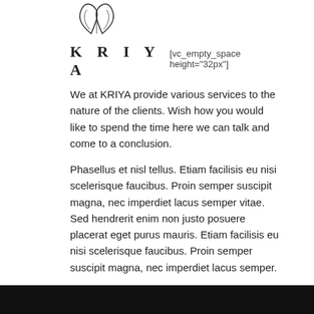[Figure (logo): KRIYA logo - decorative leaf/lotus outline illustration]
KRIYA [vc_empty_space height="32px"]
We at KRIYA provide various services to the nature of the clients. Wish how you would like to spend the time here we can talk and come to a conclusion.
Phasellus et nisl tellus. Etiam facilisis eu nisi scelerisque faucibus. Proin semper suscipit magna, nec imperdiet lacus semper vitae. Sed hendrerit enim non justo posuere placerat eget purus mauris. Etiam facilisis eu nisi scelerisque faucibus. Proin semper suscipit magna, nec imperdiet lacus semper.
[Figure (logo): reCAPTCHA badge with recycling-style arrows icon and Privacy - Terms text]